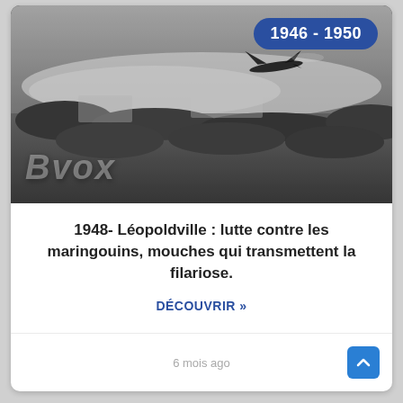[Figure (photo): Black and white historical photograph showing an aerial view of Léopoldville with a plane visible, watermark 'BVOX' in lower left, and a blue badge '1946 - 1950' in the upper right.]
1948- Léopoldville : lutte contre les maringouins, mouches qui transmettent la filariose.
DÉCOUVRIR »
6 mois ago